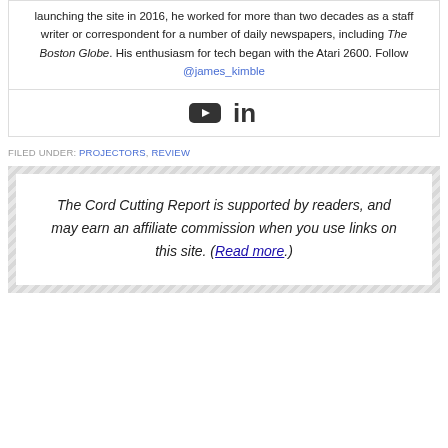launching the site in 2016, he worked for more than two decades as a staff writer or correspondent for a number of daily newspapers, including The Boston Globe. His enthusiasm for tech began with the Atari 2600. Follow @james_kimble
[Figure (other): Social media icons: YouTube and LinkedIn]
FILED UNDER: PROJECTORS, REVIEW
The Cord Cutting Report is supported by readers, and may earn an affiliate commission when you use links on this site. (Read more.)